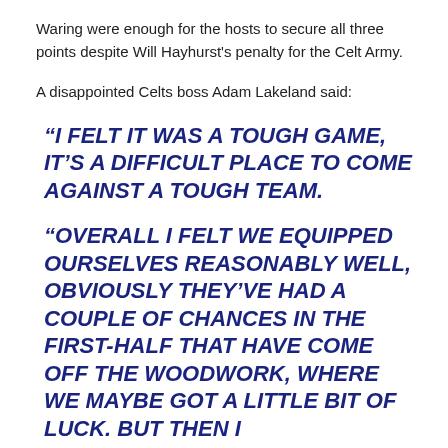Waring were enough for the hosts to secure all three points despite Will Hayhurst's penalty for the Celt Army.
A disappointed Celts boss Adam Lakeland said:
“I FELT IT WAS A TOUGH GAME, IT’S A DIFFICULT PLACE TO COME AGAINST A TOUGH TEAM.
“OVERALL I FELT WE EQUIPPED OURSELVES REASONABLY WELL, OBVIOUSLY THEY’VE HAD A COUPLE OF CHANCES IN THE FIRST-HALF THAT HAVE COME OFF THE WOODWORK, WHERE WE MAYBE GOT A LITTLE BIT OF LUCK. BUT THEN I